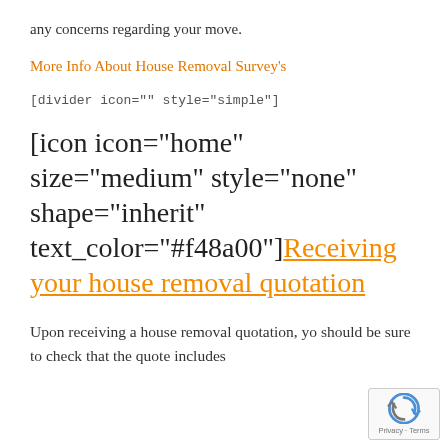any concerns regarding your move.
More Info About House Removal Survey's
[divider icon="" style="simple"]
[icon icon="home" size="medium" style="none" shape="inherit" text_color="#f48a00"]Receiving your house removal quotation
Upon receiving a house removal quotation, yo should be sure to check that the quote includes